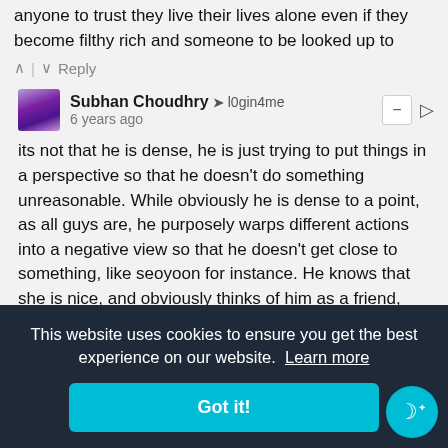anyone to trust they live their lives alone even if they become filthy rich and someone to be looked up to
Reply
Subhan Choudhry → l0gin4me
6 years ago
its not that he is dense, he is just trying to put things in a perspective so that he doesn't do something unreasonable. While obviously he is dense to a point, as all guys are, he purposely warps different actions into a negative view so that he doesn't get close to something, like seoyoon for instance. He knows that she is nice, and obviously thinks of him as a friend, however he doesn't want to get into a ...he ...e is ...ot ...would ...n'... ...g her dad is important, he probably thinks that he
This website uses cookies to ensure you get the best experience on our website. Learn more
Got it!